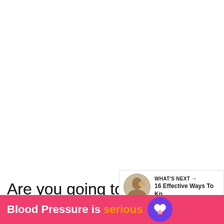[Figure (photo): Large white/blank image area taking up top portion of the page]
[Figure (illustration): Red circular like/heart button showing 190 likes, and a share button below it on the right side]
[Figure (infographic): What's Next widget showing a circular thumbnail image and text '16 Effective Ways To Kn...']
Are you going to miss all the mo... cuddled with the man of your life? Are y...
[Figure (infographic): Pink advertisement banner reading 'Blood Pressure is serious' with a purple/violet heart icon on the right]